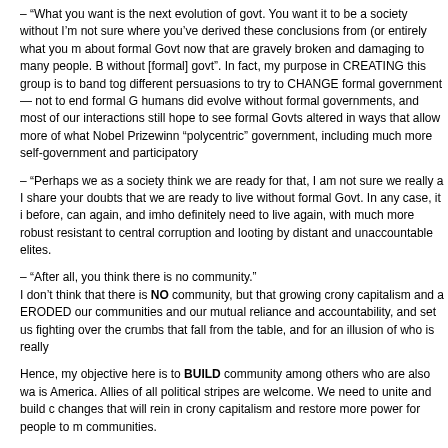– “What you want is the next evolution of govt. You want it to be a society without I’m not sure where you’ve derived these conclusions from (or entirely what you m about formal Govt now that are gravely broken and damaging to many people. B without [formal] govt”. In fact, my purpose in CREATING this group is to band tog different persuasions to try to CHANGE formal government — not to end formal G humans did evolve without formal governments, and most of our interactions still hope to see formal Govts altered in ways that allow more of what Nobel Prizewinn “polycentric” government, including much more self-government and participatory
– “Perhaps we as a society think we are ready for that, I am not sure we really a I share your doubts that we are ready to live without formal Govt. In any case, it i before, can again, and imho definitely need to live again, with much more robust resistant to central corruption and looting by distant and unaccountable elites.
– “After all, you think there is no community.”
I don’t think that there is NO community, but that growing crony capitalism and a ERODED our communities and our mutual reliance and accountability, and set us fighting over the crumbs that fall from the table, and for an illusion of who is really
Hence, my objective here is to BUILD community among others who are also wa is America. Allies of all political stripes are welcome. We need to unite and build c changes that will rein in crony capitalism and restore more power for people to m communities.
“I am concerned much of BIG BROTHER actually arises out of what community r